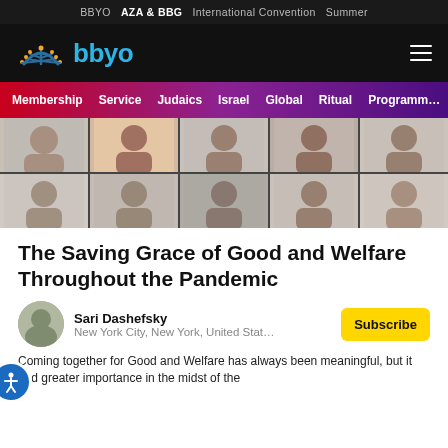BBYO  AZA & BBG  International Convention  Summer
[Figure (logo): BBYO logo with menorah icon and blue 'bbyo' wordmark on dark background, hamburger menu icon on right]
Membership  Service  Judaics  Israel  Global  Ritual  Programming
[Figure (photo): Grid of video call thumbnails showing multiple young people in separate video conference windows]
The Saving Grace of Good and Welfare Throughout the Pandemic
Sari Dashefsky
New York City, New York, United Stat...
Subscribe
Coming together for Good and Welfare has always been meaningful, but it had greater importance in the midst of the